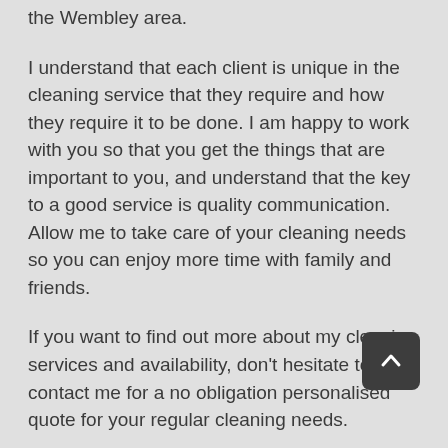the Wembley area.
I understand that each client is unique in the cleaning service that they require and how they require it to be done. I am happy to work with you so that you get the things that are important to you, and understand that the key to a good service is quality communication. Allow me to take care of your cleaning needs so you can enjoy more time with family and friends.
If you want to find out more about my cleaning services and availability, don't hesitate to contact me for a no obligation personalised quote for your regular cleaning needs.
Call by phone on: 1300 722 622 – you can